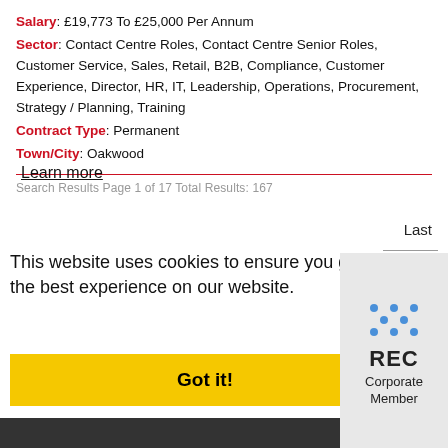Salary: £19,773 To £25,000 Per Annum
Sector: Contact Centre Roles, Contact Centre Senior Roles, Customer Service, Sales, Retail, B2B, Compliance, Customer Experience, Director, HR, IT, Leadership, Operations, Procurement, Strategy / Planning, Training
Contract Type: Permanent
Town/City: Oakwood
Search Results Page 1 of 17 Total Results: 167
Last
This website uses cookies to ensure you get the best experience on our website. Learn more
Got it!
[Figure (logo): REC Corporate Member logo with blue dot grid pattern]